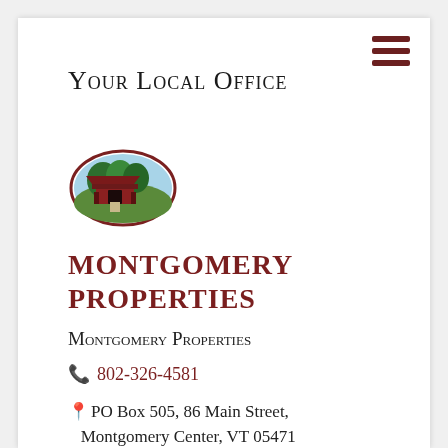Your Local Office
[Figure (logo): Montgomery Properties oval logo with painting of a covered red bridge and trees]
MONTGOMERY PROPERTIES
Montgomery Properties
802-326-4581
PO Box 505, 86 Main Street, Montgomery Center, VT 05471
Contact Us